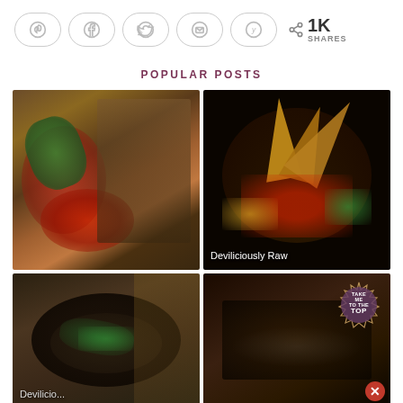[Figure (other): Social sharing buttons row: Pinterest, Facebook, Twitter, Email, Yummly icons in rounded pill buttons, followed by share icon with 1K SHARES count]
POPULAR POSTS
[Figure (photo): Food photo: sliced dark seeded bread with fresh tomatoes and basil leaves on a wooden surface]
[Figure (photo): Food photo: crispy raw tortilla chips in a bowl with colorful vegetables on black background, watermark Deviliciously Raw]
[Figure (photo): Food photo: dark bowl with soup or stew containing greens, partial text Devilicio...]
[Figure (photo): Food photo: dark background food image with Take Me to the Top badge watermark and close button]